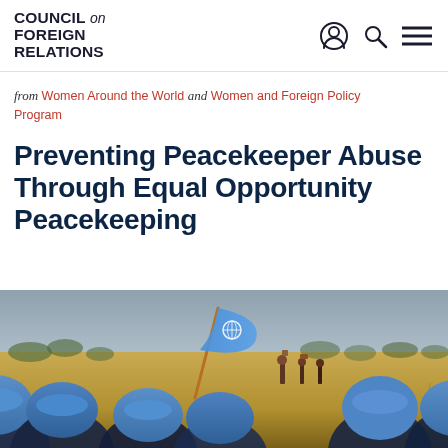COUNCIL on FOREIGN RELATIONS
from Women Around the World and Women and Foreign Policy Program
Preventing Peacekeeper Abuse Through Equal Opportunity Peacekeeping
[Figure (photo): UN peacekeepers in blue helmets walking through a dry savanna landscape, with a UN flag waving on a pole in the background. Several people carrying items on their heads are visible in the distance.]